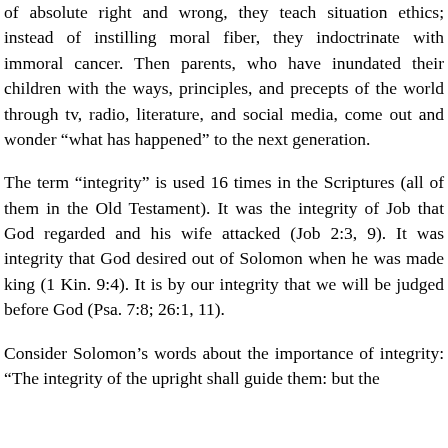of absolute right and wrong, they teach situation ethics; instead of instilling moral fiber, they indoctrinate with immoral cancer. Then parents, who have inundated their children with the ways, principles, and precepts of the world through tv, radio, literature, and social media, come out and wonder “what has happened” to the next generation.
The term “integrity” is used 16 times in the Scriptures (all of them in the Old Testament). It was the integrity of Job that God regarded and his wife attacked (Job 2:3, 9). It was integrity that God desired out of Solomon when he was made king (1 Kin. 9:4). It is by our integrity that we will be judged before God (Psa. 7:8; 26:1, 11).
Consider Solomon’s words about the importance of integrity: “The integrity of the upright shall guide them: but the